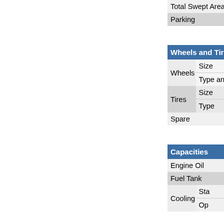| Total Swept Area |  |
| Parking |  |
| Wheels and Tires |  |
| --- | --- |
| Wheels | Size |
| Wheels | Type and |
| Tires | Size |
| Tires | Type |
| Spare |  |
| Capacities |  |
| --- | --- |
| Engine Oil |  |
| Fuel Tank |  |
| Cooling System | Sta |
| Cooling System | Op |
| Exterior Dimension |  |
| --- | --- |
| Wheelbase |  |